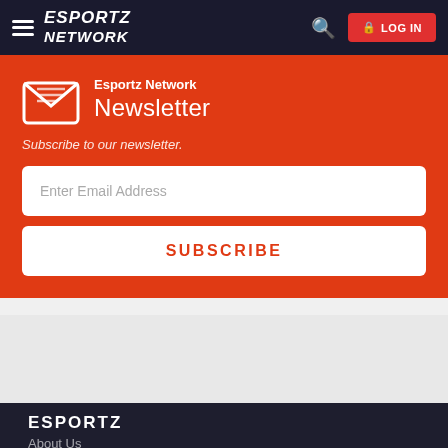ESPORTZ NETWORK  🔍  LOG IN
Esportz Network Newsletter
Subscribe to our newsletter.
Enter Email Address
SUBSCRIBE
ESPORTZ
About Us